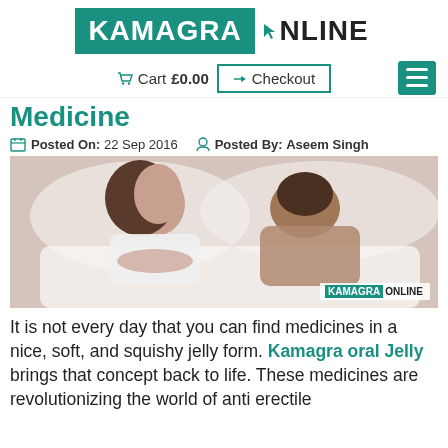[Figure (logo): Kamagra Online logo with teal background on KAMAGRA text and cursor icon before ONLINE]
Cart £0.00  Checkout  (hamburger menu)
Medicine
Posted On: 22 Sep 2016   Posted By: Aseem Singh
[Figure (photo): A man and woman lying in bed back to back, woman awake with arms crossed looking upset, man sleeping. Kamagra Online watermark in bottom right.]
It is not every day that you can find medicines in a nice, soft, and squishy jelly form. Kamagra oral Jelly brings that concept back to life. These medicines are revolutionizing the world of anti erectile